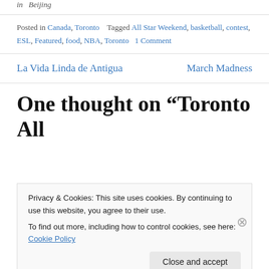in  Beijing
Posted in Canada, Toronto   Tagged All Star Weekend, basketball, contest, ESL, Featured, food, NBA, Toronto   1 Comment
La Vida Linda de Antigua
March Madness
One thought on “Toronto All
Privacy & Cookies: This site uses cookies. By continuing to use this website, you agree to their use.
To find out more, including how to control cookies, see here: Cookie Policy
Close and accept